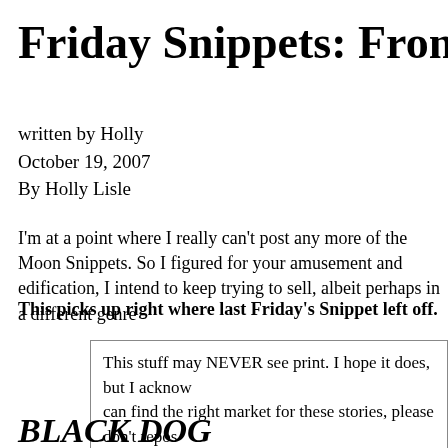Friday Snippets: From the
written by Holly
October 19, 2007
By Holly Lisle
I'm at a point where I really can't post any more of the Moon Snippets. So I figured for your amusement and edification, I intend to keep trying to sell, albeit perhaps in a different genre
This picks up right where last Friday's Snippet left off.
This stuff may NEVER see print. I hope it does, but I acknow can find the right market for these stories, please don't repos yet abandonee
BLACK DOG